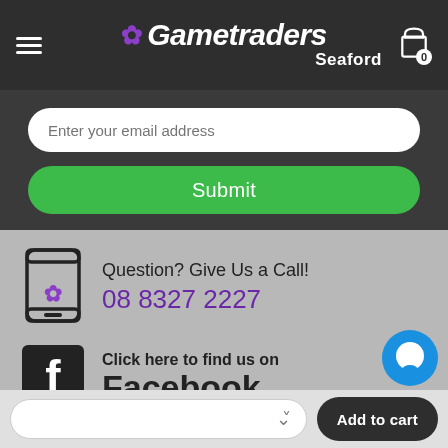[Figure (logo): Gametraders Seaford logo with hamburger menu and cart icon on dark header]
Enter your email address
Submit
Question? Give Us a Call!
08 8327 2227
Click here to find us on
Facebook
Add to cart